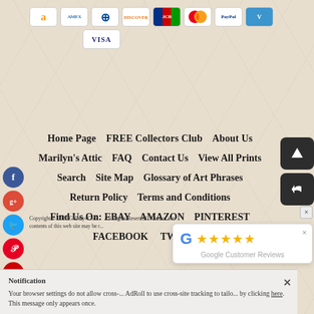[Figure (infographic): Payment method icons: Amazon, Amex, Diners Club, Discover, JCB, Mastercard, PayPal, Venmo, Visa]
Home Page   FREE Collectors Club   About Us
Marilyn's Attic   FAQ   Contact Us   View All Prints
Search   Site Map   Glossary of Art Phrases
Return Policy   Terms and Conditions
Find Us On: EBAY   AMAZON   PINTEREST
FACEBOOK   TWITTER
Copyright © 2022 Gallery4Coll...   All Rights Reserved. None of the contents of this web site may be r...
Your browser settings do not allow cross-... AdRoll to use cross-site tracking to tailo... by clicking here. This message only appears once.
[Figure (infographic): Google Customer Reviews popup with 5 gold stars]